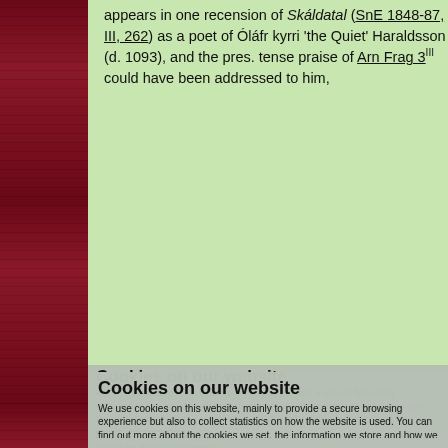appears in one recension of Skáldatal (SnE 1848-87, III, 262) as a poet of Óláfr kyrri 'the Quiet' Haraldsson (d. 1093), and the pres. tense praise of Arn Frag 3III could have been addressed to him, or alternatively to Haraldr in Blagagladrápa.
Cookies on our website
We use cookies on this website, mainly to provide a secure browsing experience but also to collect statistics on how the website is used. You can find out more about the cookies we set, the information we store and how we use it on the cookies page.
Continue